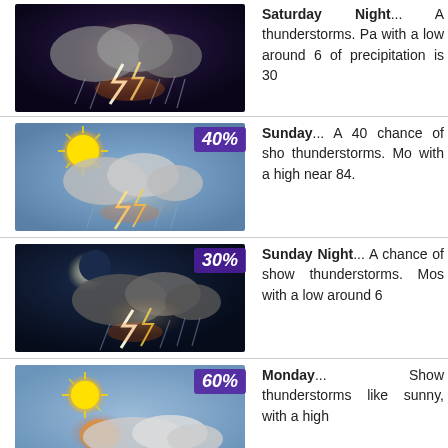[Figure (illustration): Weather icon showing thunderstorm with lightning at night]
Saturday Night... thunderstorms. Pa with a low around 6 of precipitation is 30
[Figure (illustration): Weather icon showing partly sunny with thunderstorm, 40% precipitation badge]
Sunday... A 40 chance of sho thunderstorms. Mo with a high near 84.
[Figure (illustration): Weather icon showing nighttime thunderstorm, 30% precipitation badge]
Sunday Night... A chance of show thunderstorms. Mos with a low around 6
[Figure (illustration): Weather icon showing partly sunny thunderstorm, 60% precipitation badge]
Monday... Show thunderstorms like sunny, with a high